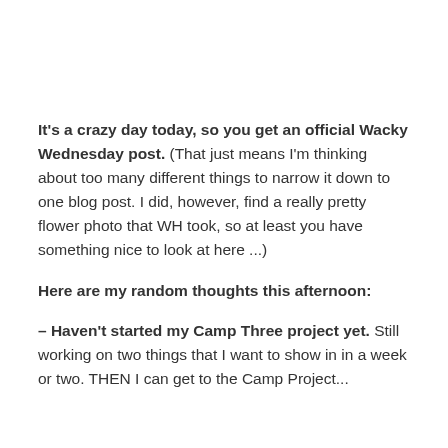It's a crazy day today, so you get an official Wacky Wednesday post. (That just means I'm thinking about too many different things to narrow it down to one blog post. I did, however, find a really pretty flower photo that WH took, so at least you have something nice to look at here ...)
Here are my random thoughts this afternoon:
– Haven't started my Camp Three project yet. Still working on two things that I want to show in in a week or two. THEN I can get to the Camp Project...